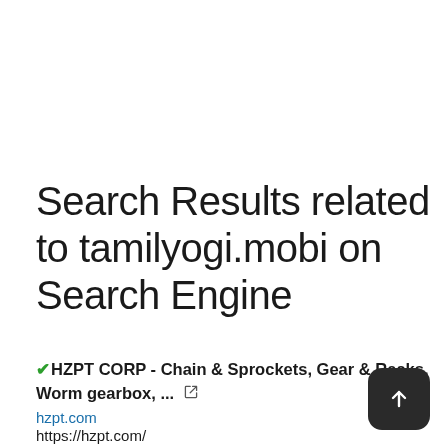Search Results related to tamilyogi.mobi on Search Engine
✔HZPT CORP - Chain & Sprockets, Gear & Racks, Worm gearbox, ... [external link]
hzpt.com
https://hzpt.com/
Specializing in the production of Planetary Gearbox, Worm Reducer, PTO Shaft, Sprocket, Fluid Coupling, Helical Gear